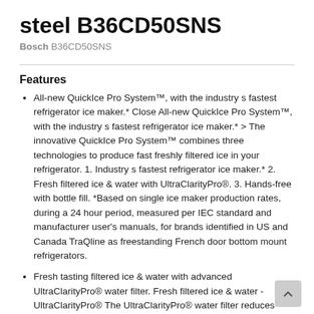steel B36CD50SNS
Bosch B36CD50SNS
Features
All-new QuickIce Pro System™, with the industry s fastest refrigerator ice maker.* Close All-new QuickIce Pro System™, with the industry s fastest refrigerator ice maker.* > The innovative QuickIce Pro System™ combines three technologies to produce fast freshly filtered ice in your refrigerator. 1. Industry s fastest refrigerator ice maker.* 2. Fresh filtered ice & water with UltraClarityPro®. 3. Hands-free with bottle fill. *Based on single ice maker production rates, during a 24 hour period, measured per IEC standard and manufacturer user's manuals, for brands identified in US and Canada TraQline as freestanding French door bottom mount refrigerators.
Fresh tasting filtered ice & water with advanced UltraClarityPro® water filter. Fresh filtered ice & water - UltraClarityPro® The UltraClarityPro® water filter reduces >99.9% of impurities that may be found in your water and ice, including harsh elements like chlorine and chloramine.
Fill your favorite glass or bottle hands-free using bottle fill technology. Hands-free with bottle fill. Fill your favorite glass or bottle hands-free using bottle fill technology. Fill your favorite